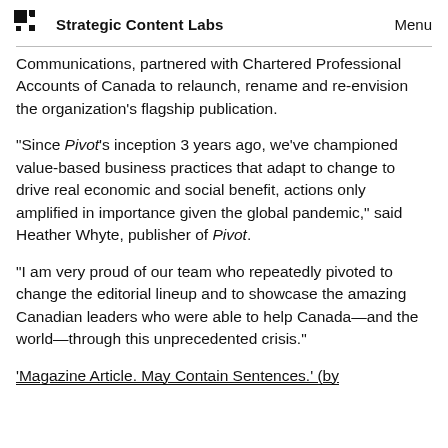Strategic Content Labs  Menu
Communications, partnered with Chartered Professional Accounts of Canada to relaunch, rename and re-envision the organization's flagship publication.
“Since Pivot’s inception 3 years ago, we’ve championed value-based business practices that adapt to change to drive real economic and social benefit, actions only amplified in importance given the global pandemic,” said Heather Whyte, publisher of Pivot.
“I am very proud of our team who repeatedly pivoted to change the editorial lineup and to showcase the amazing Canadian leaders who were able to help Canada—and the world—through this unprecedented crisis.”
‘Magazine Article. May Contain Sentences.’ (by